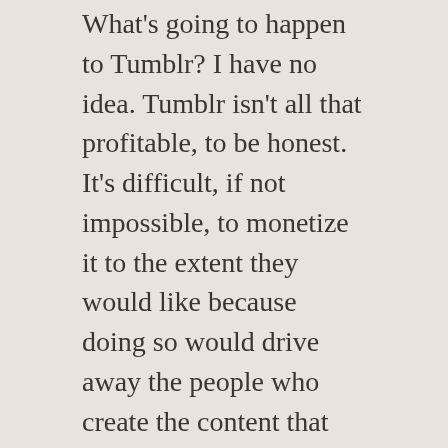What's going to happen to Tumblr? I have no idea. Tumblr isn't all that profitable, to be honest. It's difficult, if not impossible, to monetize it to the extent they would like because doing so would drive away the people who create the content that draws viewers to the site in the first place, as Yahoo quickly discovered when it took over the service.
I think it's highly likely that Tumblr will not remain the property of Yahoo for much longer. Whether they sell the service or spin it off into an independent company is something I don't know. (Frankly, from what I've been reading in the financial press, I don't think anyone at Yahoo knows what the hell they're doing.)